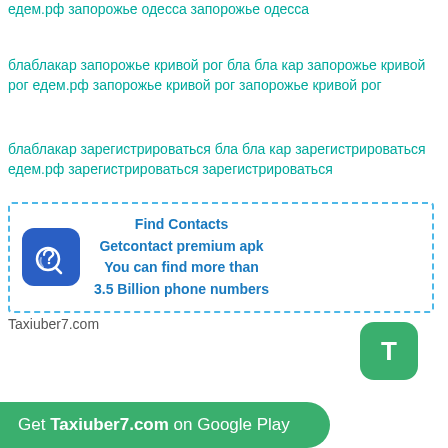едем.рф запорожье одесса запорожье одесса
блаблакар запорожье кривой рог бла бла кар запорожье кривой рог едем.рф запорожье кривой рог запорожье кривой рог
блаблакар зарегистрироваться бла бла кар зарегистрироваться едем.рф зарегистрироваться зарегистрироваться
[Figure (infographic): Advertisement box with dashed blue border, phone icon on blue rounded square background, text: Find Contacts / Getcontact premium apk / You can find more than / 3.5 Billion phone numbers]
Taxiuber7.com
[Figure (logo): Green rounded square button with white letter T]
Get Taxiuber7.com on Google Play